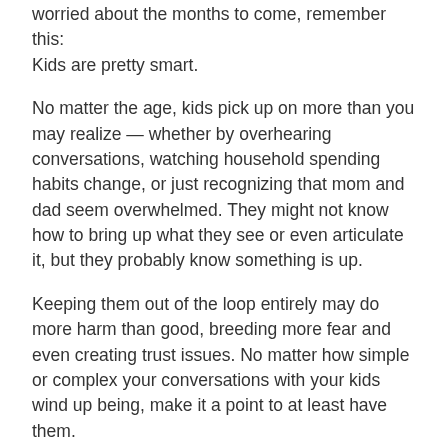worried about the months to come, remember this: Kids are pretty smart.
No matter the age, kids pick up on more than you may realize — whether by overhearing conversations, watching household spending habits change, or just recognizing that mom and dad seem overwhelmed. They might not know how to bring up what they see or even articulate it, but they probably know something is up.
Keeping them out of the loop entirely may do more harm than good, breeding more fear and even creating trust issues. No matter how simple or complex your conversations with your kids wind up being, make it a point to at least have them.
2. Lead the way with questions
Some of our best conversations will come with kids...